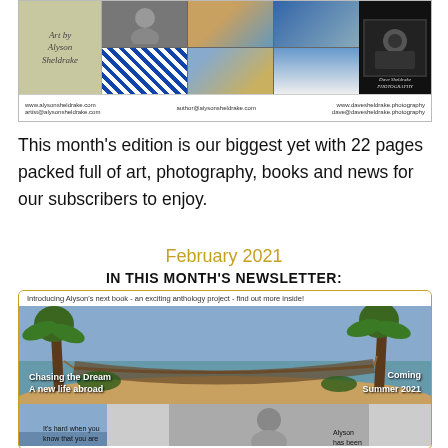[Figure (photo): Banner with art by Alyson Sheldrake images on the left/center and Dave Sheldrake Photography on the right, with contact emails at the bottom]
This month's edition is our biggest yet with 22 pages packed full of art, photography, books and news for our subscribers to enjoy.
February 2021
IN THIS MONTH'S NEWSLETTER:
[Figure (photo): Newsletter card with caption 'Introducing Alyson's next book - an exciting anthology project - find out more inside!' above a beach hammock photo. Overlay text: 'Chasing the Dream A new life abroad' on left and 'Coming Summer 2021' on right. Bottom strip shows blue sky image on left and portrait on right with partial text 'It's hard when you know that you are' and 'Alyson has been']